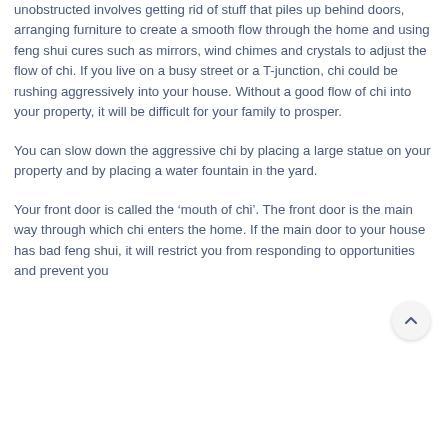unobstructed involves getting rid of stuff that piles up behind doors, arranging furniture to create a smooth flow through the home and using feng shui cures such as mirrors, wind chimes and crystals to adjust the flow of chi. If you live on a busy street or a T-junction, chi could be rushing aggressively into your house. Without a good flow of chi into your property, it will be difficult for your family to prosper.
You can slow down the aggressive chi by placing a large statue on your property and by placing a water fountain in the yard.
Your front door is called the ‘mouth of chi’. The front door is the main way through which chi enters the home. If the main door to your house has bad feng shui, it will restrict you from responding to opportunities and prevent you